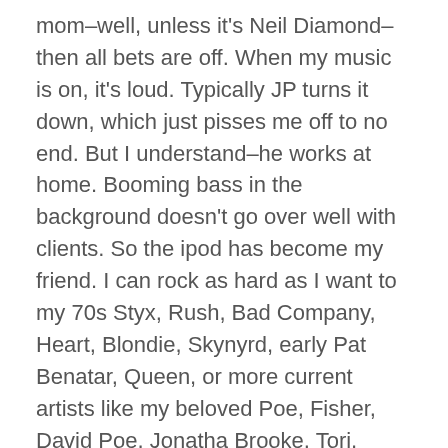mom–well, unless it's Neil Diamond–then all bets are off. When my music is on, it's loud. Typically JP turns it down, which just pisses me off to no end. But I understand–he works at home. Booming bass in the background doesn't go over well with clients. So the ipod has become my friend. I can rock as hard as I want to my 70s Styx, Rush, Bad Company, Heart, Blondie, Skynyrd, early Pat Benatar, Queen, or more current artists like my beloved Poe, Fisher, David Poe, Jonatha Brooke, Tori, Perry Farrell, Duffy, Paramore, Muse, Creed, Collective Soul, Beck, Blue Foundation…the list goes on–and no one can bug me that it's too damn loud. On the rare occasions I get my Mazda CX7 to myself, I crank those Bose speakers way the hell up and rock out. (I love my car BTW–it has a turbo and awesome speakers. Think I bought it more for the speakers than anything else but I